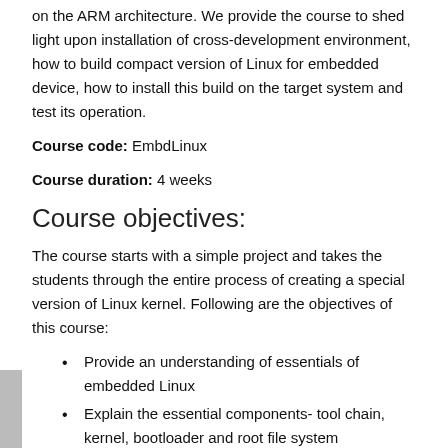on the ARM architecture. We provide the course to shed light upon installation of cross-development environment, how to build compact version of Linux for embedded device, how to install this build on the target system and test its operation.
Course code: EmbdLinux
Course duration: 4 weeks
Course objectives:
The course starts with a simple project and takes the students through the entire process of creating a special version of Linux kernel. Following are the objectives of this course:
Provide an understanding of essentials of embedded Linux
Explain the essential components- tool chain, kernel, bootloader and root file system
Describe the concept of ARM9